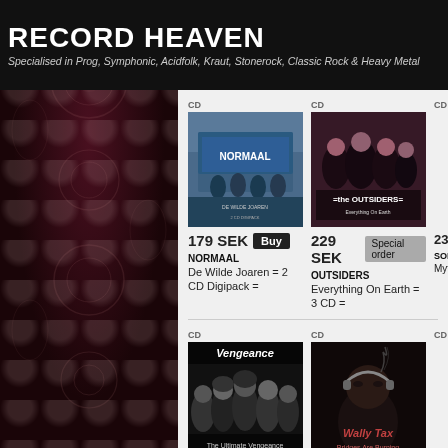RECORD HEAVEN
Specialised in Prog, Symphonic, Acidfolk, Kraut, Stonerock, Classic Rock & Heavy Metal
[Figure (photo): Album cover for NORMAAL - De Wilde Joaren = 2 CD Digipack]
179 SEK  NORMAAL De Wilde Joaren = 2 CD Digipack =
[Figure (photo): Album cover for OUTSIDERS - Everything On Earth = 3 CD]
229 SEK Special order  OUTSIDERS Everything On Earth = 3 CD =
[Figure (photo): Album cover for SOLUTION - Mythology (partially visible)]
239 SEK  SOLUTION Mythology
[Figure (photo): Album cover for VENGEANCE - The Ultimate Vengeance = 2 CD]
179 SEK  VENGEANCE The Ultimate Vengeance = 2 CD =
[Figure (photo): Album cover for WALLY TAX - Bridges Are Burning = 2 CD]
179 SEK  WALLY TAX Bridges Are Burning = 2 CD =
[Figure (photo): Album cover for ZIPPS - Kicks And Stoned (partially visible)]
149 SEK  ZIPPS Kicks And Stoned =